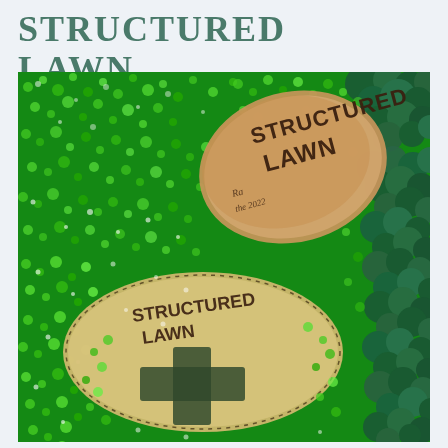STRUCTURED LAWN
[Figure (photo): Aerial/collage-style image of a lawn installation artwork titled 'Structured Lawn'. Shows bright sparkling green grass covering most of the scene with two sandy/beige bare patches. The upper patch contains handwritten text reading 'STRUCTURED LAWN' with a date '2022' and smaller script. The lower oval patch has handwritten 'STRUCTURED LAWN' text and a green cross/plus symbol drawn in the center. Dark green tree-like foliage clusters are visible along the right edge and upper right corner.]